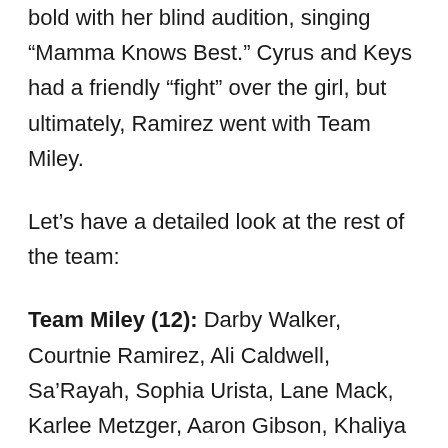bold with her blind audition, singing “Mamma Knows Best.” Cyrus and Keys had a friendly “fight” over the girl, but ultimately, Ramirez went with Team Miley.
Let’s have a detailed look at the rest of the team:
Team Miley (12): Darby Walker, Courtnie Ramirez, Ali Caldwell, Sa’Rayah, Sophia Urista, Lane Mack, Karlee Metzger, Aaron Gibson, Khaliya Kimberlie, Maye Thomas, Charity Bowden, Josette Diaz